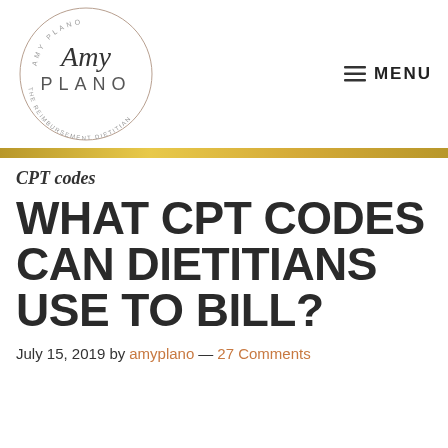Amy Plano — The Reimbursement Dietitian logo | MENU
CPT codes
WHAT CPT CODES CAN DIETITIANS USE TO BILL?
July 15, 2019 by amyplano — 27 Comments